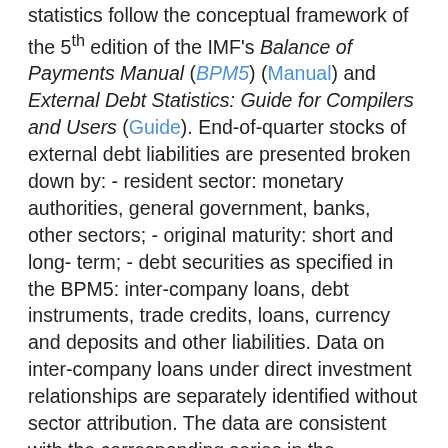statistics follow the conceptual framework of the 5th edition of the IMF's Balance of Payments Manual (BPM5) (Manual) and External Debt Statistics: Guide for Compilers and Users (Guide). End-of-quarter stocks of external debt liabilities are presented broken down by: - resident sector: monetary authorities, general government, banks, other sectors; - original maturity: short and long-term; - debt securities as specified in the BPM5: inter-company loans, debt instruments, trade credits, loans, currency and deposits and other liabilities. Data on inter-company loans under direct investment relationships are separately identified without sector attribution. The data are consistent with the corresponding series in the international investment position statistics.
In comparison to the liabilities side of the